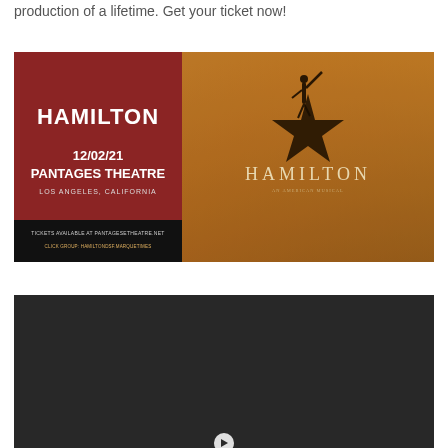production of a lifetime. Get your ticket now!
[Figure (illustration): Hamilton musical promotional image. Left panel: dark red background with white bold text reading 'HAMILTON', below '12/02/21', 'PANTAGES THEATRE', 'LOS ANGELES, CALIFORNIA', small text at bottom 'TICKETS AVAILABLE AT PANTAGESETHEATRE.NET' and a URL line. Right panel: golden/bronze textured background with a silhouette of a figure raising one arm, a large star shape, and 'HAMILTON' in spaced serif letters with small subtitle text below.]
[Figure (screenshot): Dark gray/black rectangular area, partially visible, appears to be a video player or dark image panel at the bottom of the page, with a small white circular icon visible at the bottom center edge.]